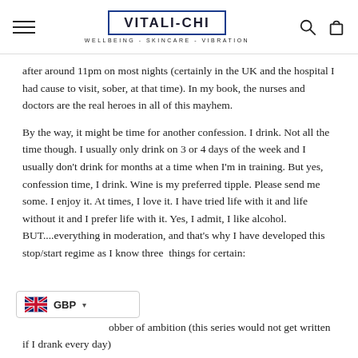VITALI-CHI | WELLBEING - SKINCARE - VIBRATION
after around 11pm on most nights (certainly in the UK and the hospital I had cause to visit, sober, at that time). In my book, the nurses and doctors are the real heroes in all of this mayhem.
By the way, it might be time for another confession. I drink. Not all the time though. I usually only drink on 3 or 4 days of the week and I usually don't drink for months at a time when I'm in training. But yes, confession time, I drink. Wine is my preferred tipple. Please send me some. I enjoy it. At times, I love it. I have tried life with it and life without it and I prefer life with it. Yes, I admit, I like alcohol. BUT....everything in moderation, and that's why I have developed this stop/start regime as I know three  things for certain:
obber of ambition (this series would not get written if I drank every day)